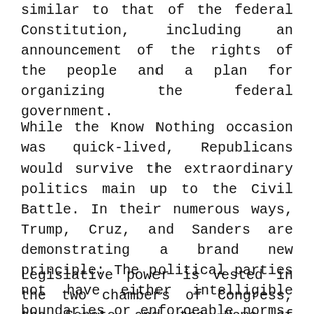similar to that of the federal Constitution, including an announcement of the rights of the people and a plan for organizing the federal government.
While the Know Nothing occasion was quick-lived, Republicans would survive the extraordinary politics main up to the Civil Battle. In their numerous ways, Trump, Cruz, and Sanders are demonstrating a brand new principle: The political parties not have either intelligible boundaries or enforceable norms, and, consequently, renegade political conduct pays.
Legislative power is vested in the two chambers of Congress, the Senate and the Home of Representatives The judicial branch (or judiciary), composed of the Supreme Court and lower federal